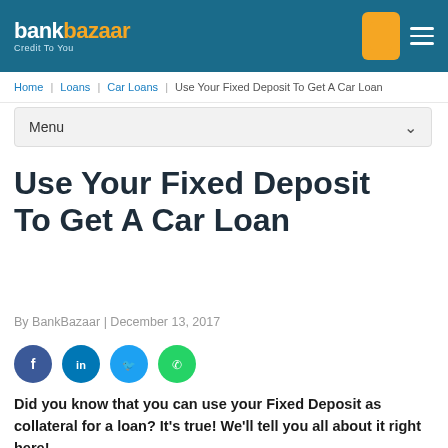bankbazaar – Credit To You
Home | Loans | Car Loans | Use Your Fixed Deposit To Get A Car Loan
Menu
Use Your Fixed Deposit To Get A Car Loan
By BankBazaar | December 13, 2017
[Figure (other): Social share buttons: Facebook, LinkedIn, Twitter, WhatsApp]
Did you know that you can use your Fixed Deposit as collateral for a loan? It's true! We'll tell you all about it right here!